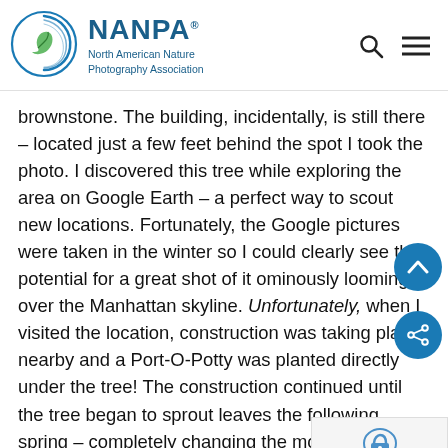[Figure (logo): NANPA - North American Nature Photography Association logo with circular blue swirl and leaf icon]
brownstone. The building, incidentally, is still there – located just a few feet behind the spot I took the photo. I discovered this tree while exploring the area on Google Earth – a perfect way to scout new locations. Fortunately, the Google pictures were taken in the winter so I could clearly see the potential for a great shot of it ominously looming over the Manhattan skyline. Unfortunately, when I visited the location, construction was taking place nearby and a Port-O-Potty was planted directly under the tree! The construction continued until the tree began to sprout leaves the following spring – completely changing the mood of the scene. I returned